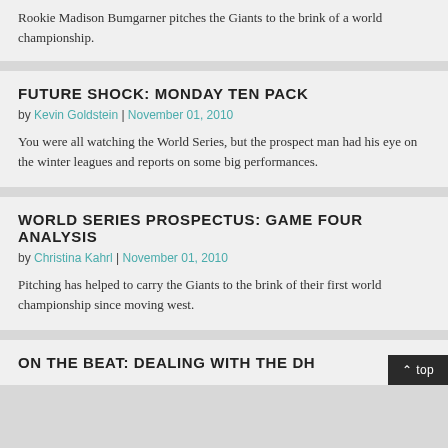Rookie Madison Bumgarner pitches the Giants to the brink of a world championship.
FUTURE SHOCK: MONDAY TEN PACK
by Kevin Goldstein | November 01, 2010
You were all watching the World Series, but the prospect man had his eye on the winter leagues and reports on some big performances.
WORLD SERIES PROSPECTUS: GAME FOUR ANALYSIS
by Christina Kahrl | November 01, 2010
Pitching has helped to carry the Giants to the brink of their first world championship since moving west.
ON THE BEAT: DEALING WITH THE DH